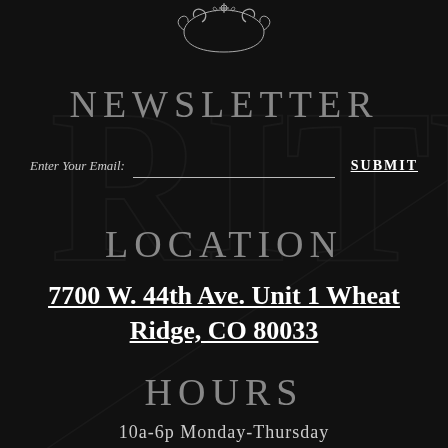[Figure (logo): Decorative ornamental logo/monogram at top center with swirling design]
NEWSLETTER
Enter Your Email:
SUBMIT
LOCATION
7700 W. 44th Ave. Unit 1 Wheat Ridge, CO 80033
HOURS
10a-6p Monday-Thursday